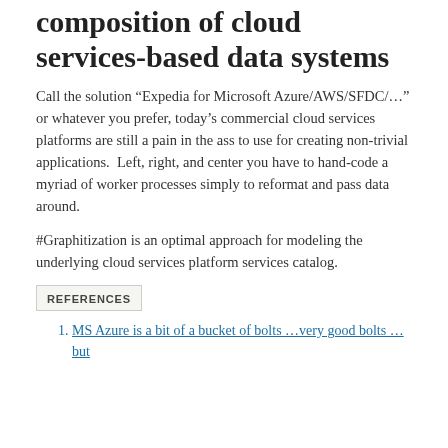# Automated service composition of cloud services-based data systems
Call the solution “Expedia for Microsoft Azure/AWS/SFDC/…” or whatever you prefer, today’s commercial cloud services platforms are still a pain in the ass to use for creating non-trivial applications.  Left, right, and center you have to hand-code a myriad of worker processes simply to reformat and pass data around.
#Graphitization is an optimal approach for modeling the underlying cloud services platform services catalog.
REFERENCES
MS Azure is a bit of a bucket of bolts …very good bolts …but